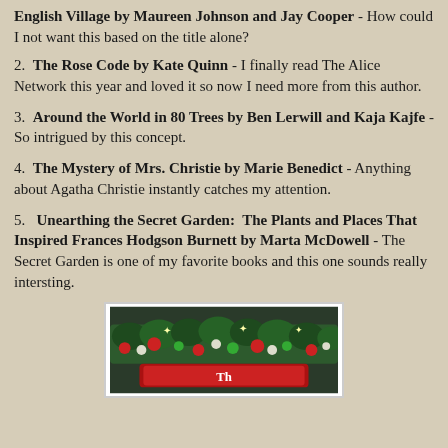English Village by Maureen Johnson and Jay Cooper - How could I not want this based on the title alone?
2.  The Rose Code by Kate Quinn - I finally read The Alice Network this year and loved it so now I need more from this author.
3.  Around the World in 80 Trees by Ben Lerwill and Kaja Kajfe - So intrigued by this concept.
4.  The Mystery of Mrs. Christie by Marie Benedict - Anything about Agatha Christie instantly catches my attention.
5.   Unearthing the Secret Garden:  The Plants and Places That Inspired Frances Hodgson Burnett by Marta McDowell - The Secret Garden is one of my favorite books and this one sounds really intersting.
[Figure (photo): Book cover with Christmas decorations — green garland with red, green, and white ornaments and star decorations above what appears to be a red sign. Partial title text visible at bottom.]